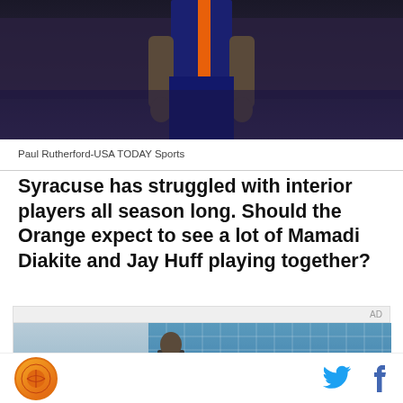[Figure (photo): Basketball player in dark navy/purple Syracuse uniform with orange stripe, lower body visible, standing on court with blurred crowd in background]
Paul Rutherford-USA TODAY Sports
Syracuse has struggled with interior players all season long. Should the Orange expect to see a lot of Mamadi Diakite and Jay Huff playing together?
[Figure (photo): Advertisement showing a young person standing in front of a building with glass windows]
SB Nation logo with Twitter and Facebook social icons